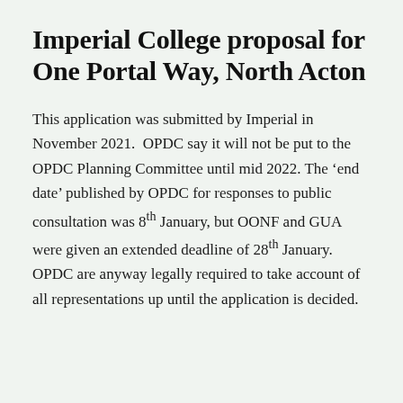Imperial College proposal for One Portal Way, North Acton
This application was submitted by Imperial in November 2021.  OPDC say it will not be put to the OPDC Planning Committee until mid 2022. The ‘end date’ published by OPDC for responses to public consultation was 8th January, but OONF and GUA were given an extended deadline of 28th January.  OPDC are anyway legally required to take account of all representations up until the application is decided.